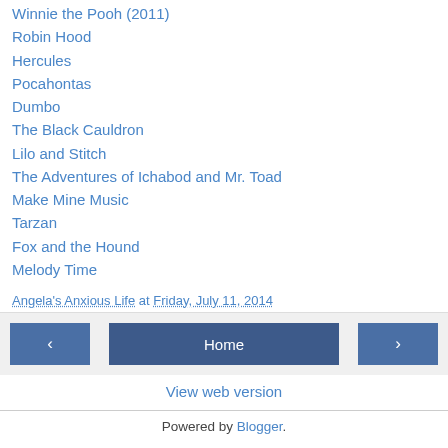Winnie the Pooh (2011)
Robin Hood
Hercules
Pocahontas
Dumbo
The Black Cauldron
Lilo and Stitch
The Adventures of Ichabod and Mr. Toad
Make Mine Music
Tarzan
Fox and the Hound
Melody Time
Angela's Anxious Life at Friday, July 11, 2014
Home | < | > | View web version | Powered by Blogger.